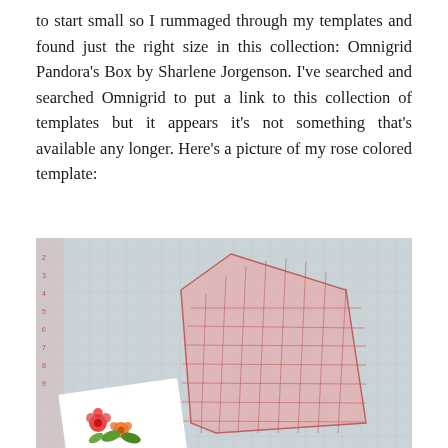to start small so I rummaged through my templates and found just the right size in this collection: Omnigrid Pandora's Box by Sharlene Jorgenson. I've searched and searched Omnigrid to put a link to this collection of templates but it appears it's not something that's available any longer. Here's a picture of my rose colored template:
[Figure (photo): A rose colored transparent Omnigrid quilting template (house/hexagon shape with grid lines) placed on a cutting mat with a small floral card or paper in the lower left corner.]